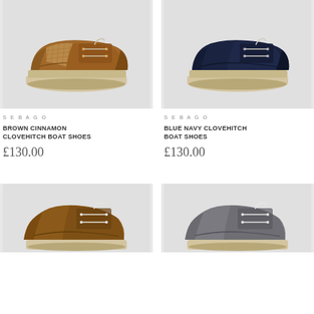[Figure (photo): Brown cinnamon leather boat shoe with mesh detail and cream rubber sole, side profile view on light gray background]
SEBAGO
BROWN CINNAMON CLOVEHITCH BOAT SHOES
£130.00
[Figure (photo): Blue navy leather boat shoe with cream rubber sole, side profile view on light gray background]
SEBAGO
BLUE NAVY CLOVEHITCH BOAT SHOES
£130.00
[Figure (photo): Brown leather boat shoe with white laces, partially visible, side profile view on light gray background]
[Figure (photo): Gray leather boat shoe with white laces, partially visible, side profile view on light gray background]